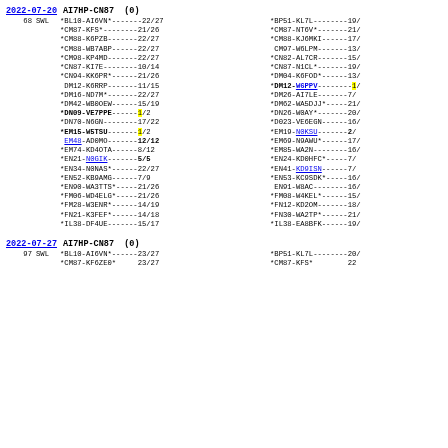2022-07-20  AI7HP-CN87  (0)
68  SWL  *BL10-AI6VN*-------22/27  *BP51-KL7L--------19/...
2022-07-27  AI7HP-CN87  (0)
97  SWL  *BL10-AI6VN*------23/27  *BP51-KL7L--------20/...